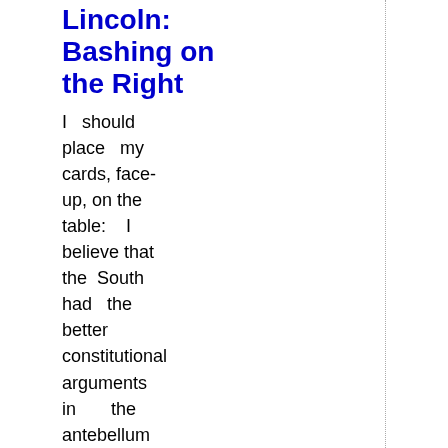Lincoln: Bashing on the Right
I should place my cards, face-up, on the table: I believe that the South had the better constitutional arguments in the antebellum period, not to mention a sounder architecture for political philosophy generally (which is to say that